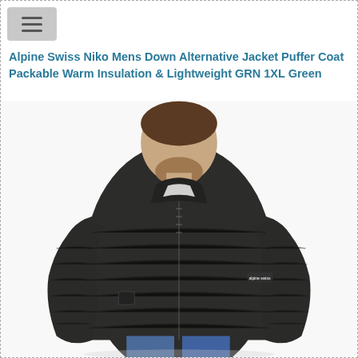Alpine Swiss Niko Mens Down Alternative Jacket Puffer Coat Packable Warm Insulation & Lightweight GRN 1XL Green
[Figure (photo): A man wearing a dark olive/black quilted puffer jacket with a zip-front, standing in a three-quarter pose showing the side and front of the jacket. The jacket has horizontal quilted baffles, a stand-up collar, and a small brand logo on the left chest/sleeve area. The model is wearing jeans. Background is white.]